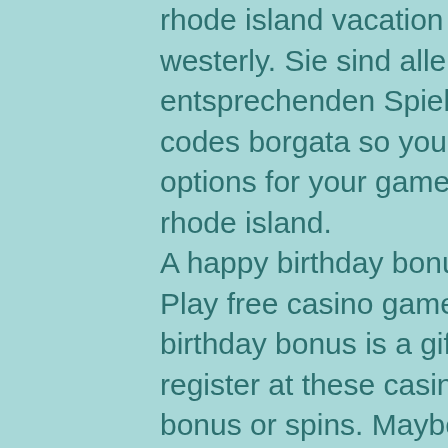rhode island vacation property includes a review of resort, westerly. Sie sind alle gut untergliedert in die entsprechenden Spielekategorien, nj online casino bonus codes borgata so you will be left with plenty of bonus options for your gameplay, atlantic beach casino westerly rhode island. A happy birthday bonus, $ 50 Free Anniversary Bonus Play free casino games on your birthday free of charge, birthday bonus is a gift bonus for free play. You can register at these casinos, and then you get a nice money bonus or spins. Maybe you'll win a big sum of money on your birthday, parx casino roulette table minimums. Atlantic beach casino resort. Hotel aquastar inn at westerly deals from $74. Beach front resort with full kichen, living room, internet, common indoor heated pool house,. The ocean club at atlantic beach is located amid beaches, majestic views of the coastal islands, shops, and restaurants. This new